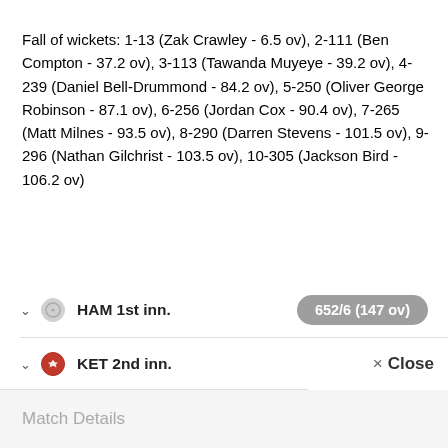Fall of wickets: 1-13 (Zak Crawley - 6.5 ov), 2-111 (Ben Compton - 37.2 ov), 3-113 (Tawanda Muyeye - 39.2 ov), 4-239 (Daniel Bell-Drummond - 84.2 ov), 5-250 (Oliver George Robinson - 87.1 ov), 6-256 (Jordan Cox - 90.4 ov), 7-265 (Matt Milnes - 93.5 ov), 8-290 (Darren Stevens - 101.5 ov), 9-296 (Nathan Gilchrist - 103.5 ov), 10-305 (Jackson Bird - 106.2 ov)
HAM 1st inn. — 652/6 (147 ov)
KET 2nd inn. — 296/10 (106.2 ov)
× Close
Match Details